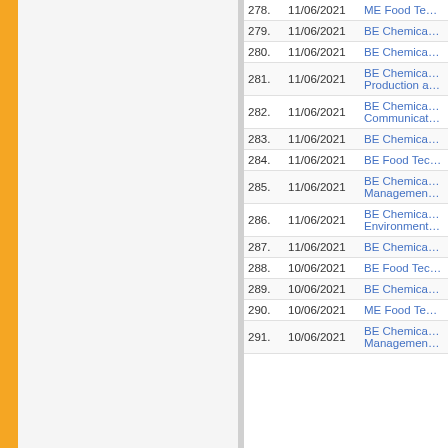| No. | Date | Title |
| --- | --- | --- |
| 278. | 11/06/2021 | ME Food Te… |
| 279. | 11/06/2021 | BE Chemica… |
| 280. | 11/06/2021 | BE Chemica… |
| 281. | 11/06/2021 | BE Chemica… Production a… |
| 282. | 11/06/2021 | BE Chemica… Communicat… |
| 283. | 11/06/2021 | BE Chemica… |
| 284. | 11/06/2021 | BE Food Tec… |
| 285. | 11/06/2021 | BE Chemica… Managemen… |
| 286. | 11/06/2021 | BE Chemica… Environment… |
| 287. | 11/06/2021 | BE Chemica… |
| 288. | 10/06/2021 | BE Food Tec… |
| 289. | 10/06/2021 | BE Chemica… |
| 290. | 10/06/2021 | ME Food Te… |
| 291. | 10/06/2021 | BE Chemica… Managemen… |